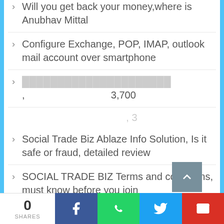Will you get back your money,where is Anubhav Mittal
Configure Exchange, POP, IMAP, outlook mail account over smartphone
, 3,700
, 3
Social Trade Biz Ablaze Info Solution, Is it safe or fraud, detailed review
SOCIAL TRADE BIZ Terms and conditions, must know before you join
Redmi Note 4, Success carved again
How to make your slow computer super fast in 5 minutes
Reliance Jio 4G feature phone, First look
Review, hands on Coolpad Note 5
0 SHARES | Facebook | WhatsApp | Twitter | Gmail